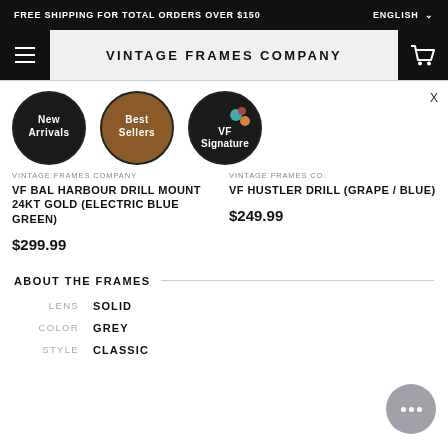FREE SHIPPING FOR TOTAL ORDERS OVER $150   ENGLISH
VINTAGE FRAMES COMPANY
[Figure (screenshot): Three circular navigation buttons labeled 'New Arrivals', 'Best Sellers', and 'VF Signature' with background photos inside each circle]
VINTAGE FRAMES COMPANY
VF BAL HARBOUR DRILL MOUNT 24KT GOLD (ELECTRIC BLUE GREEN)
$299.99
VINTAGE FRAMES CO.
VF HUSTLER DRILL (GRAPE / BLUE)
$249.99
ABOUT THE FRAMES
LENS   SOLID
COLOR   GREY
STYLE   CLASSIC